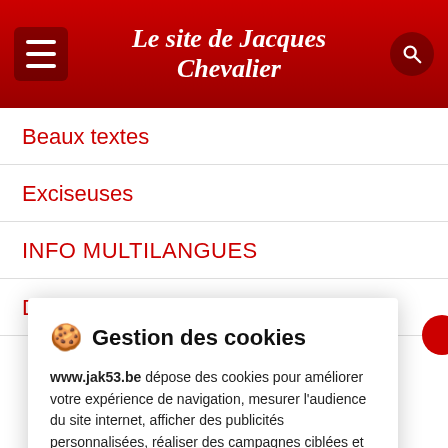Le site de Jacques Chevalier
Beaux textes
Exciseuses
INFO MULTILANGUES
Dr MUKWEGE à Liège
🍪  Gestion des cookies
www.jak53.be dépose des cookies pour améliorer votre expérience de navigation, mesurer l'audience du site internet, afficher des publicités personnalisées, réaliser des campagnes ciblées et personnaliser l'interface du site.
Consulter la politique de confidentialité
REFUSER   PARAMÉTRER   ACCEPTER